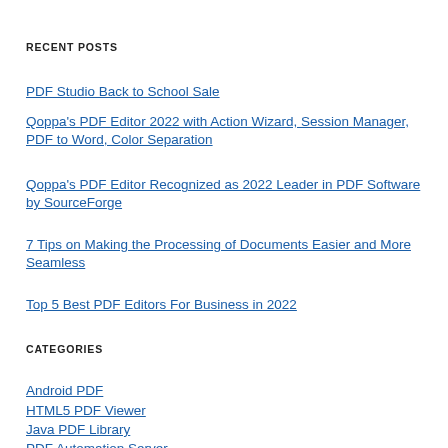RECENT POSTS
PDF Studio Back to School Sale
Qoppa's PDF Editor 2022 with Action Wizard, Session Manager, PDF to Word, Color Separation
Qoppa's PDF Editor Recognized as 2022 Leader in PDF Software by SourceForge
7 Tips on Making the Processing of Documents Easier and More Seamless
Top 5 Best PDF Editors For Business in 2022
CATEGORIES
Android PDF
HTML5 PDF Viewer
Java PDF Library
PDF Automation Server